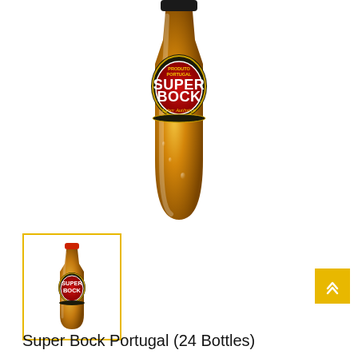[Figure (photo): Super Bock Portugal beer bottle, golden/amber glass with condensation droplets, large label showing red circle with SUPER BOCK text and PRODUTO PORTUGAL text, Saber Autêntico tagline]
[Figure (photo): Small thumbnail image of Super Bock Portugal beer bottle, full bottle view with red circular label, shown inside yellow-bordered selection box]
Super Bock Portugal (24 Bottles)